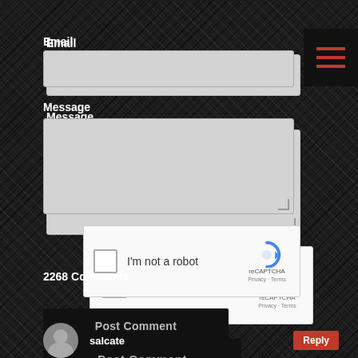Email
[Figure (screenshot): Email input field (gray text box)]
Message
[Figure (screenshot): Message textarea input (gray, resizable)]
[Figure (screenshot): reCAPTCHA widget with checkbox 'I'm not a robot' and reCAPTCHA logo with Privacy - Terms links]
[Figure (screenshot): Post Comment button (dark/black background)]
2268 Comments
salcate
Reply